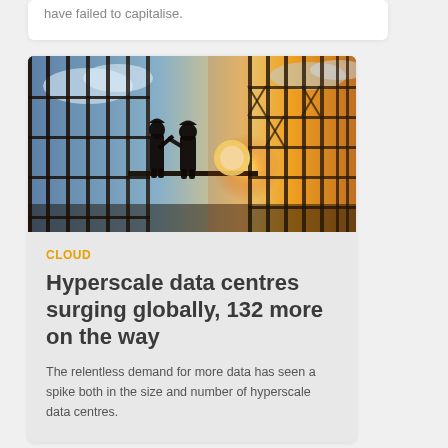have failed to capitalise.
[Figure (photo): Silhouettes of two construction workers on scaffolding against a sunset sky with steel framework structure]
CLOUD
Hyperscale data centres surging globally, 132 more on the way
The relentless demand for more data has seen a spike both in the size and number of hyperscale data centres.